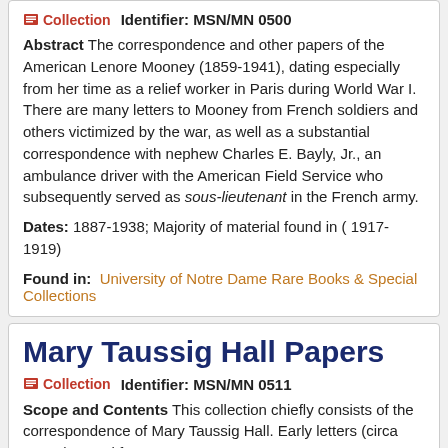Collection   Identifier: MSN/MN 0500
Abstract The correspondence and other papers of the American Lenore Mooney (1859-1941), dating especially from her time as a relief worker in Paris during World War I. There are many letters to Mooney from French soldiers and others victimized by the war, as well as a substantial correspondence with nephew Charles E. Bayly, Jr., an ambulance driver with the American Field Service who subsequently served as sous-lieutenant in the French army.
Dates: 1887-1938; Majority of material found in (1917-1919)
Found in: University of Notre Dame Rare Books & Special Collections
Mary Taussig Hall Papers
Collection   Identifier: MSN/MN 0511
Scope and Contents This collection chiefly consists of the correspondence of Mary Taussig Hall. Early letters (circa 1920s) to and from Mary